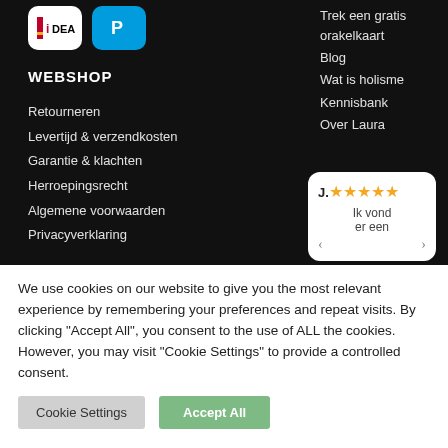[Figure (logo): iDEAL payment logo — white rounded rectangle with blue and yellow stripe icon]
[Figure (logo): PayPal payment logo — blue rounded rectangle with white P symbol]
Trek een gratis orakelkaart
Blog
Wat is holisme
Kennisbank
Over Laura
WEBSHOP
Retourneren
Levertijd & verzendkosten
Garantie & klachten
Herroepingsrecht
Algemene voorwaarden
Privacyverklaring
[Figure (other): Review card showing 'J.' with 5 gold stars and text 'Ik vond er een' with navigation arrows]
We use cookies on our website to give you the most relevant experience by remembering your preferences and repeat visits. By clicking "Accept All", you consent to the use of ALL the cookies. However, you may visit "Cookie Settings" to provide a controlled consent.
Cookie Settings
Accept All